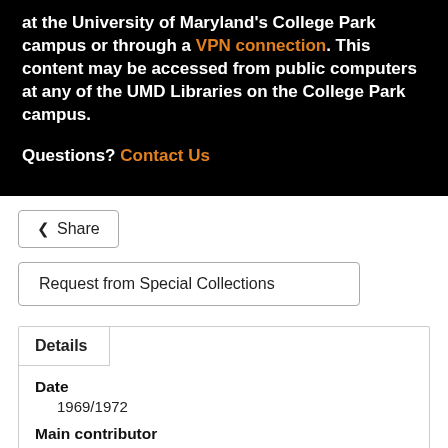at the University of Maryland's College Park campus or through a VPN connection. This content may be accessed from public computers at any of the UMD Libraries on the College Park campus.
Questions? Contact Us
Share
Request from Special Collections
Details
Date
1969/1972
Main contributor
Warner, Roger
Summary